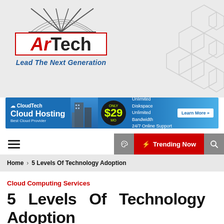[Figure (logo): ArTech logo with red border box, abstract arch graphic above text reading ArTech in red and black, tagline: Lead The Next Generation in blue italic]
[Figure (infographic): CloudTech Cloud Hosting advertisement banner: blue gradient background, $29/mo price in yellow circle, text about Unlimited Diskspace, Unlimited Bandwidth, 24/7 Online Support, Learn More button]
☰  [moon icon]  ⚡ Trending Now  [search icon]
Home > 5 Levels Of Technology Adoption
Cloud Computing Services
5 Levels Of Technology Adoption